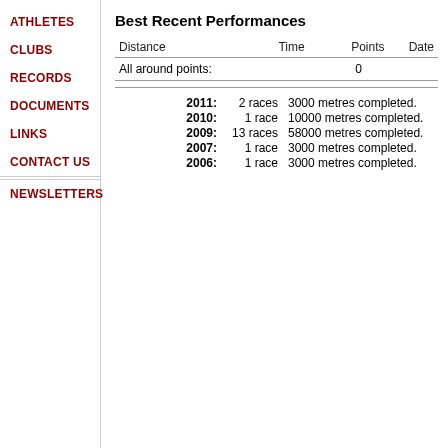ATHLETES
CLUBS
RECORDS
DOCUMENTS
LINKS
CONTACT US
NEWSLETTERS
Best Recent Performances
| Distance | Time | Points | Date |
| --- | --- | --- | --- |
All around points:    0
2011:  2 races  3000 metres completed.
2010:  1 race  10000 metres completed.
2009:  13 races  58000 metres completed.
2007:  1 race  3000 metres completed.
2006:  1 race  3000 metres completed.